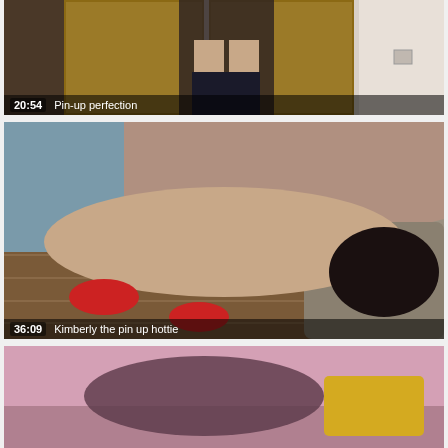[Figure (screenshot): Video thumbnail showing a person in lingerie and stockings standing in a room. Duration: 20:54. Title: Pin-up perfection]
[Figure (screenshot): Video thumbnail showing two people on a couch, one wearing red heels. Duration: 36:09. Title: Kimberly the pin up hottie]
[Figure (screenshot): Video thumbnail partially visible at bottom of page, showing people on a bed with yellow pillow.]